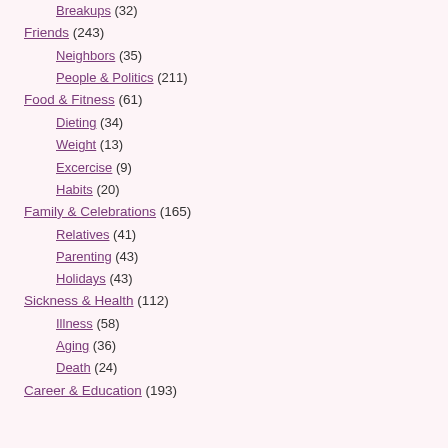Breakups (32)
Friends (243)
Neighbors (35)
People & Politics (211)
Food & Fitness (61)
Dieting (34)
Weight (13)
Excercise (9)
Habits (20)
Family & Celebrations (165)
Relatives (41)
Parenting (43)
Holidays (43)
Sickness & Health (112)
Illness (58)
Aging (36)
Death (24)
Career & Education (193)